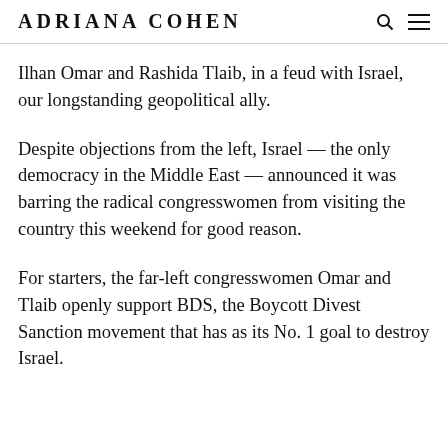ADRIANA COHEN
Ilhan Omar and Rashida Tlaib, in a feud with Israel, our longstanding geopolitical ally.
Despite objections from the left, Israel — the only democracy in the Middle East — announced it was barring the radical congresswomen from visiting the country this weekend for good reason.
For starters, the far-left congresswomen Omar and Tlaib openly support BDS, the Boycott Divest Sanction movement that has as its No. 1 goal to destroy Israel.